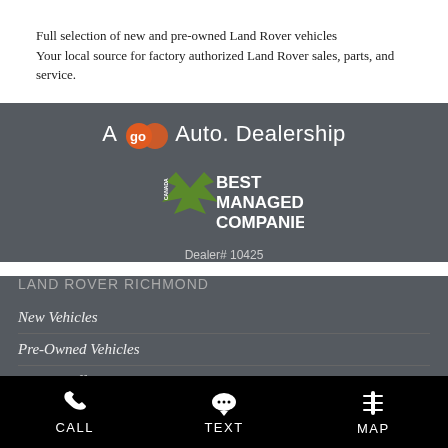Full selection of new and pre-owned Land Rover vehicles
Your local source for factory authorized Land Rover sales, parts, and service.
[Figure (logo): A goAuto. Dealership logo with orange goAuto circle emblem]
[Figure (logo): Canada Best Managed Companies logo with green maple leaf]
Dealer# 10425
LAND ROVER RICHMOND
New Vehicles
Pre-Owned Vehicles
Special Offers
Service and Parts
CALL  TEXT  MAP